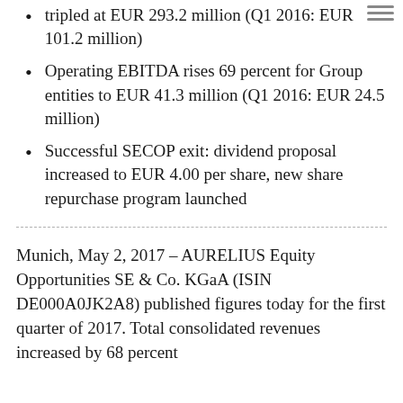tripled at EUR 293.2 million (Q1 2016: EUR 101.2 million)
Operating EBITDA rises 69 percent for Group entities to EUR 41.3 million (Q1 2016: EUR 24.5 million)
Successful SECOP exit: dividend proposal increased to EUR 4.00 per share, new share repurchase program launched
Munich, May 2, 2017 – AURELIUS Equity Opportunities SE & Co. KGaA (ISIN DE000A0JK2A8) published figures today for the first quarter of 2017. Total consolidated revenues increased by 68 percent